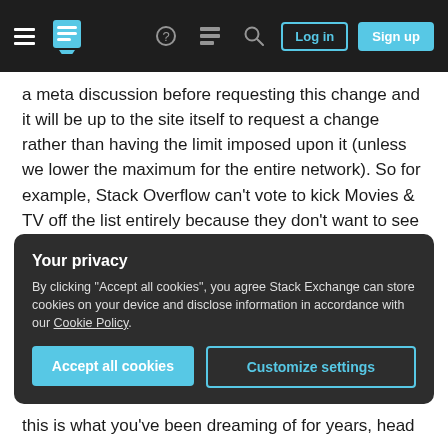Stack Exchange navigation bar with hamburger menu, logo, help, chat, search icons, Log in and Sign up buttons
a meta discussion before requesting this change and it will be up to the site itself to request a change rather than having the limit imposed upon it (unless we lower the maximum for the entire network). So for example, Stack Overflow can't vote to kick Movies & TV off the list entirely because they don't want to see spoilers for the last season of Game of Thrones, but Movies & TV can ask that fewer of their questions be shown so that they can devote sufficient time to those that are.
Your privacy
By clicking “Accept all cookies”, you agree Stack Exchange can store cookies on your device and disclose information in accordance with our Cookie Policy.
Accept all cookies
Customize settings
this is what you’ve been dreaming of for years, head